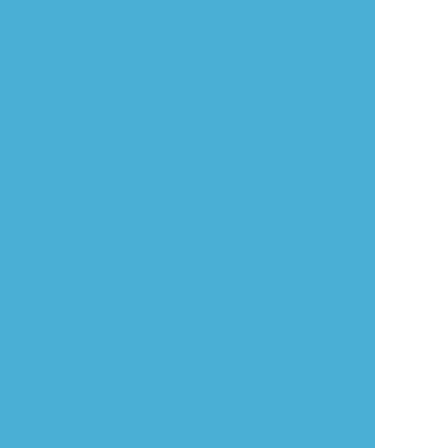ON: Enrolment at Ontario's Colleges Hits Record Level in 2...
NB: Premier Looks Forward to Working with the Federal Go... Creabon
NS: Better Employment Services for Job Seekers and Emp...
NS: Changes Enhance Protection of Workers
NL: Prov. Releases Report on Review of Harassment and D... Workplace Policy
"Follow Your Passion" Career Optimism Leaving Youth Unp...
If Your HR Department Overlooks the Importance of This Ke... You
2015 November
Perfectionism: Why Not Try to Be the Best?
Workplace Ethics: What You Need to Know
Ergonomics at Work
Employer Constructively Dismissed Executive Director in Ba...
Arbitration Board Denies Grievance Over Breastfeeding Re...
Employer Was Unaware of Employee Disability Until After T...
Employers Beware: In 2015, Your Firm's Termination Claus... Become Unenforceable!
Can What You Write on a Company Phone Get You Fired?...
PSAC Calls On New Parliament to Restore Public Services... With Federal Public Service Employees
Unifor Celebrates Defeat of Harper Conservatives
Canada's Big Data Consortium Announces New White Pape... Help Close Big Data Talent Gap
Study: Lack of Recognition a Top Source of Unhappiness o... Employees
Competition Open for Health and Safety Scholarship
Canadian Small Businesses Driving the Economy But Conb... on Innovation and Exports: CIBC
BC: Roundtable on Access to Skilled Labour for the Constru...
BC: Aboriginal Skills Training Programs Target Northwest an...
AB: Low Energy Prices Drive Review of Compensation in E...
SK: Prov. Declares October Disability Employment Awarene...
ON: Prov. Launches Audits to Ensure Workplaces are Acce...
NB: Collective Agreements Signed with Medical Science an... Professionals
PE: Prov. Shows Labour Market Improvements
YK: Ready to Work Program Supports Tourism Workers and...
NF: Veterans Bring Valued Skills to the Provincial Labour Fo...
NF: Prov. Helps Employers Connect with Skilled Immigrants...
New Tool to Bridge Employment Gap for People with Disab...
Many Employees Left in the Dark About Growth Prospects o...